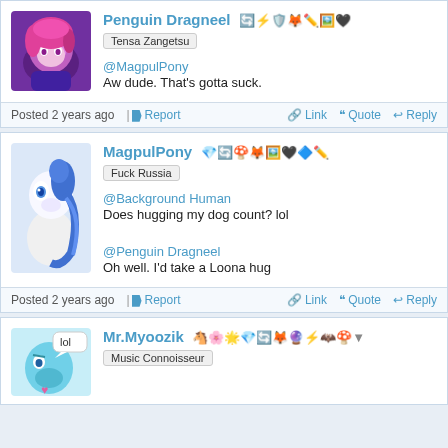Penguin Dragneel — Tensa Zangetsu — @MagpulPony — Aw dude. That's gotta suck.
Posted 2 years ago | Report | Link | Quote | Reply
MagpulPony — Fuck Russia — @Background Human — Does hugging my dog count? lol — @Penguin Dragneel — Oh well. I'd take a Loona hug
Posted 2 years ago | Report | Link | Quote | Reply
Mr.Myoozik — Music Connoisseur